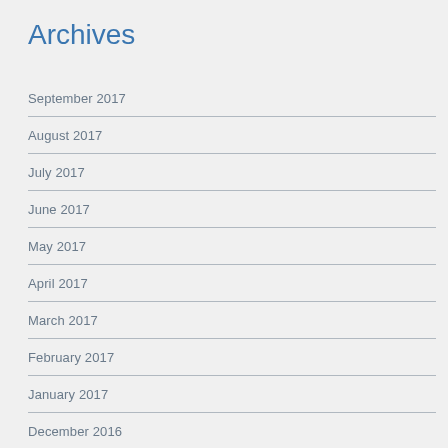Archives
September 2017
August 2017
July 2017
June 2017
May 2017
April 2017
March 2017
February 2017
January 2017
December 2016
November 2016
October 2016